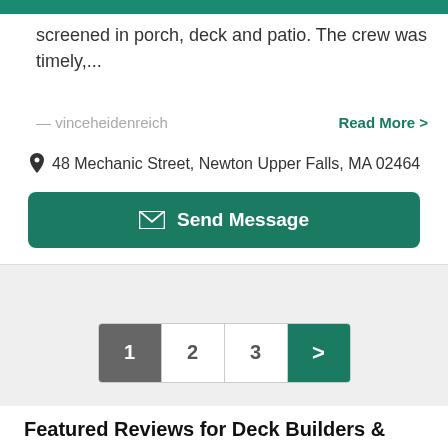screened in porch, deck and patio. The crew was timely,...
— vinceheidenreich
Read More >
48 Mechanic Street, Newton Upper Falls, MA 02464
Send Message
[Figure (other): Pagination control with page buttons: 1 (active/gray), 2, 3, and a next arrow button (green)]
Featured Reviews for Deck Builders & Contractors in Manchester